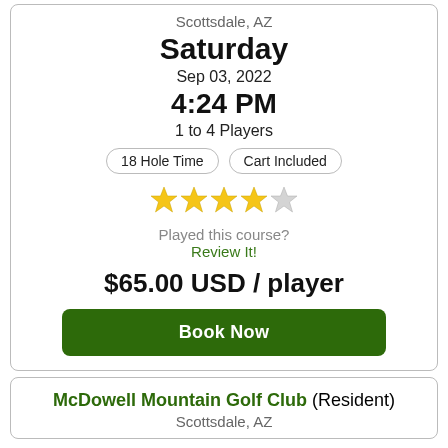Scottsdale, AZ
Saturday
Sep 03, 2022
4:24 PM
1 to 4 Players
18 Hole Time
Cart Included
[Figure (other): 4 stars out of 5 rating shown as star icons (4 gold, 1 grey)]
Played this course?
Review It!
$65.00 USD / player
Book Now
McDowell Mountain Golf Club (Resident)
Scottsdale, AZ